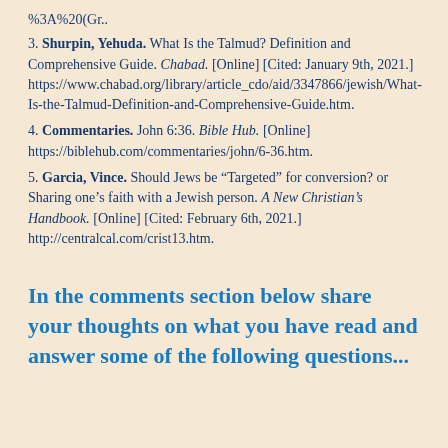https://...%3A%20(Gr..
3. Shurpin, Yehuda. What Is the Talmud? Definition and Comprehensive Guide. Chabad. [Online] [Cited: January 9th, 2021.] https://www.chabad.org/library/article_cdo/aid/3347866/jewish/What-Is-the-Talmud-Definition-and-Comprehensive-Guide.htm.
4. Commentaries. John 6:36. Bible Hub. [Online] https://biblehub.com/commentaries/john/6-36.htm.
5. Garcia, Vince. Should Jews be “Targeted” for conversion? or Sharing one’s faith with a Jewish person. A New Christian’s Handbook. [Online] [Cited: February 6th, 2021.] http://centralcal.com/crist13.htm.
In the comments section below share your thoughts on what you have read and answer some of the following questions...